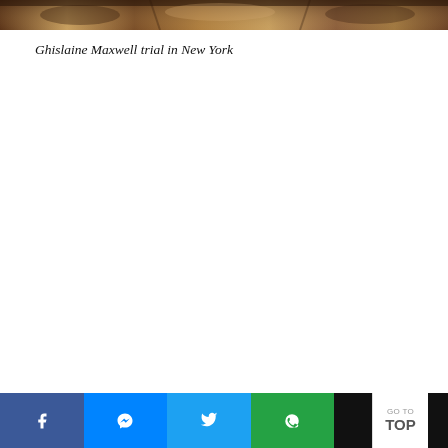[Figure (photo): Partial view of a photograph related to the Ghislaine Maxwell trial in New York; shows warm brown and tan tones, cropped at the top of the page.]
Ghislaine Maxwell trial in New York
Facebook share | Messenger share | Twitter share | WhatsApp share | GO TO TOP